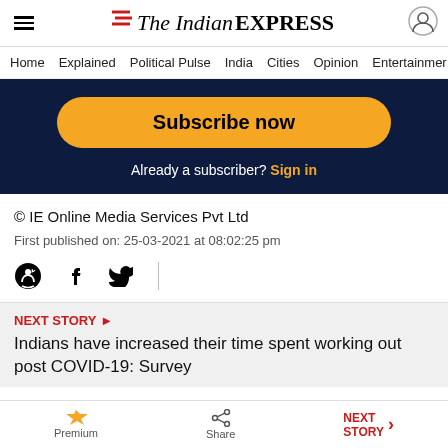The Indian EXPRESS
Home  Explained  Political Pulse  India  Cities  Opinion  Entertainment
Subscribe now
Already a subscriber? Sign in
© IE Online Media Services Pvt Ltd
First published on: 25-03-2021 at 08:02:25 pm
NEXT STORY ▶ Indians have increased their time spent working out post COVID-19: Survey
Premium  Share  NEXT STORY →